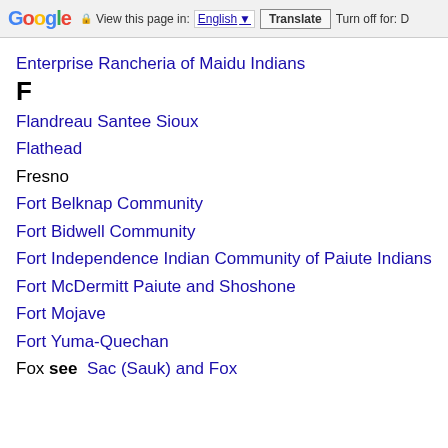Google | View this page in: English [▼] | Translate | Turn off for: D
Enterprise Rancheria of Maidu Indians
F
Flandreau Santee Sioux
Flathead
Fresno
Fort Belknap Community
Fort Bidwell Community
Fort Independence Indian Community of Paiute Indians
Fort McDermitt Paiute and Shoshone
Fort Mojave
Fort Yuma-Quechan
Fox see Sac (Sauk) and Fox